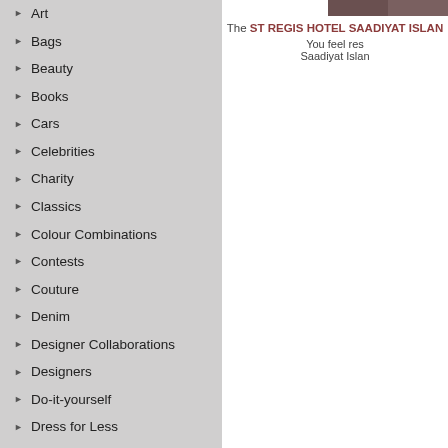Art
Bags
Beauty
Books
Cars
Celebrities
Charity
Classics
Colour Combinations
Contests
Couture
Denim
Designer Collaborations
Designers
Do-it-yourself
Dress for Less
Dresses
Events
Exhibitions
Fall/Winter 2010
Fall/Winter 2011
Fall/Winter 2012
Fall/Winter 2013
[Figure (photo): Partial photo of ST REGIS HOTEL SAADIYAT ISLAND, cropped at top right]
The ST REGIS HOTEL SAADIYAT ISLAND You feel res... Saadiyat Islan...